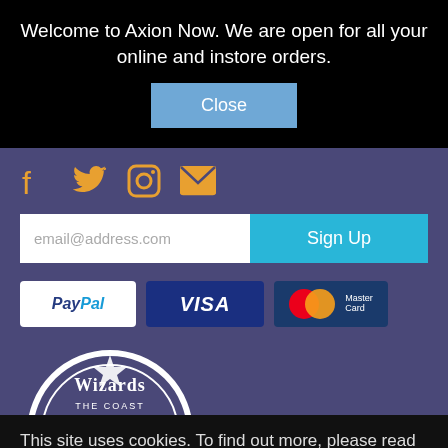Welcome to Axion Now. We are open for all your online and instore orders.
Close
[Figure (other): Social media icons: Facebook, Twitter, Instagram, Email in orange/gold color]
email@address.com
Sign Up
[Figure (other): Payment method badges: PayPal, VISA, MasterCard]
[Figure (logo): Wizards of the Coast circular logo, partially visible at bottom]
This site uses cookies. To find out more, please read our privacy policy.  Privacy Policy
Close